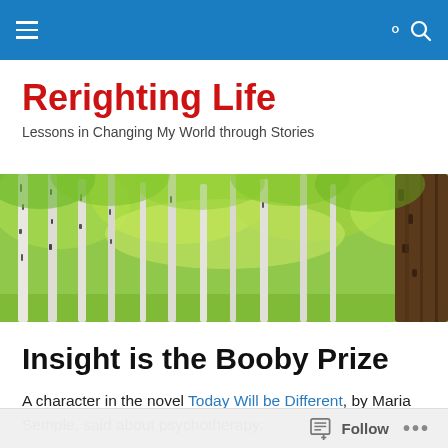Navigation bar with hamburger menu and search icon
Rerighting Life
Lessons in Changing My World through Stories
[Figure (photo): Wide panoramic banner photo of birch trees in a bright green forest]
Insight is the Booby Prize
A character in the novel Today Will be Different, by Maria Semple, said about psychotherapy:
Follow  ...